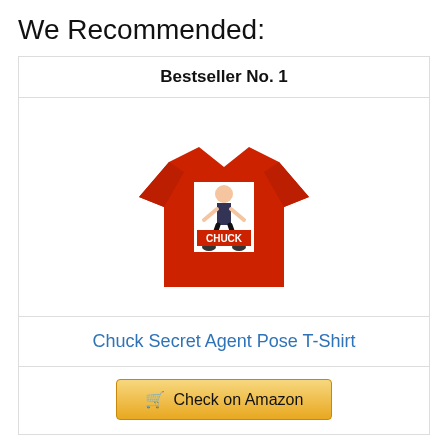We Recommended:
Bestseller No. 1
[Figure (photo): Red Chuck Secret Agent Pose T-Shirt product image showing a man in a spy pose wearing a red t-shirt with CHUCK branding]
Chuck Secret Agent Pose T-Shirt
🛒 Check on Amazon
Bestseller No. 2